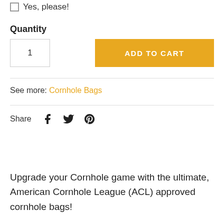Yes, please!
Quantity
1
ADD TO CART
See more: Cornhole Bags
Share
Upgrade your Cornhole game with the ultimate, American Cornhole League (ACL) approved cornhole bags!